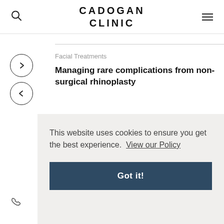CADOGAN CLINIC
Facial Treatments
Managing rare complications from non-surgical rhinoplasty
[Figure (photo): Photo of a person with dark hair, partial view of head from behind/side, against a muted background]
This website uses cookies to ensure you get the best experience. View our Policy
Got it!